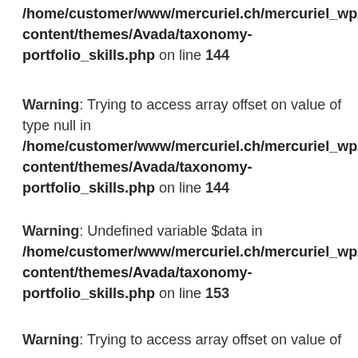/home/customer/www/mercuriel.ch/mercuriel_wp/wp-content/themes/Avada/taxonomy-portfolio_skills.php on line 144
Warning: Trying to access array offset on value of type null in /home/customer/www/mercuriel.ch/mercuriel_wp/wp-content/themes/Avada/taxonomy-portfolio_skills.php on line 144
Warning: Undefined variable $data in /home/customer/www/mercuriel.ch/mercuriel_wp/wp-content/themes/Avada/taxonomy-portfolio_skills.php on line 153
Warning: Trying to access array offset on value of